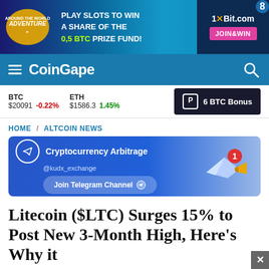[Figure (screenshot): Banner advertisement for 1xBit.com casino — 'Around the World Adventure' slot promotion. Text: PLAY SLOTS TO WIN A SHARE OF THE 0,5 BTC PRIZE FUND! JOIN&WIN button on the right.]
CoinGape
BTC $20091 -0.22% ETH $1586.3 1.45% 6 BTC Bonus
HOME / ALTCOIN NEWS
[Figure (screenshot): Cryptocurrency Arbitrage Telegram channel ad by @kudx_exchange — blue background with 'Join Telegram Channel' button and notification icon graphic on the right.]
Litecoin ($LTC) Surges 15% to Post New 3-Month High, Here's Why it